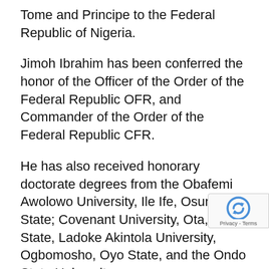Tome and Principe to the Federal Republic of Nigeria.
Jimoh Ibrahim has been conferred the honor of the Officer of the Order of the Federal Republic OFR, and Commander of the Order of the Federal Republic CFR.
He has also received honorary doctorate degrees from the Obafemi Awolowo University, Ile Ife, Osun State; Covenant University, Ota, Ogun State, Ladoke Akintola University, Ogbomosho, Oyo State, and the Ondo State University.
In 2003 and in 2016, Ibrahim attempted to become the governor of Ondo State, on the platform of the All Niger People's Party (ANPP) and the People's Democratic Par...